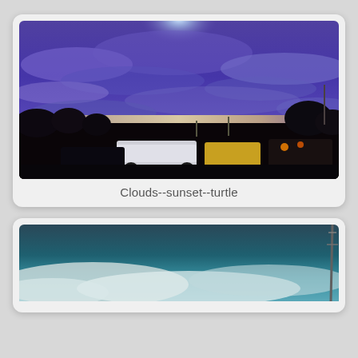[Figure (photo): Sunset sky with dramatic purple and blue clouds over a dark parking lot filled with cars and silhouetted trees. Bright light visible near the horizon.]
Clouds--sunset--turtle
[Figure (photo): Partially visible photo showing a teal/blue-green sky with white clouds and what appears to be a pole or antenna on the right side, cropped at the bottom of the page.]